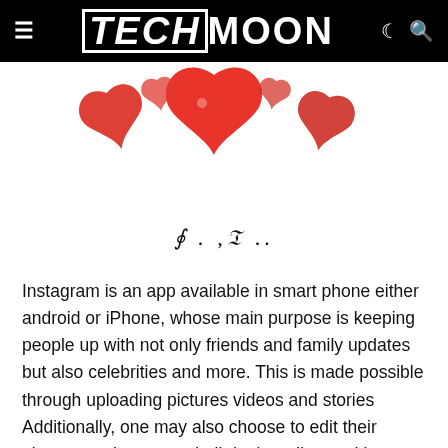TECHMOON
[Figure (illustration): Red heart-shaped like/notification icons clustered together, partially cropped at top of page]
6 . ,m ..
Instagram is an app available in smart phone either android or iPhone, whose main purpose is keeping people up with not only friends and family updates but also celebrities and more. This is made possible through uploading pictures videos and stories Additionally, one may also choose to edit their pictures on Instagram built-in the editor and later share with their followers. The whole idea gets fun through the acquisition of followers and likes.